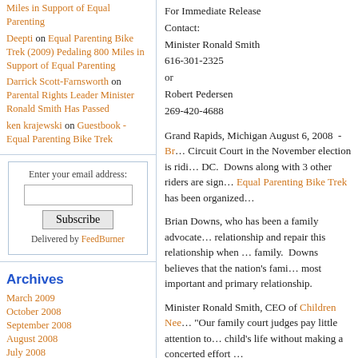Miles in Support of Equal Parenting
Deepti on Equal Parenting Bike Trek (2009) Pedaling 800 Miles in Support of Equal Parenting
Darrick Scott-Farnsworth on Parental Rights Leader Minister Ronald Smith Has Passed
ken krajewski on Guestbook - Equal Parenting Bike Trek
Enter your email address:
Subscribe
Delivered by FeedBurner
Archives
March 2009
October 2008
September 2008
August 2008
July 2008
June 2008
May 2008
For Immediate Release
Contact:
Minister Ronald Smith
616-301-2325
or
Robert Pedersen
269-420-4688
Grand Rapids, Michigan August 6, 2008 - Br... Circuit Court in the November election is ridi... DC. Downs along with 3 other riders are sign... Equal Parenting Bike Trek has been organized...
Brian Downs, who has been a family advocate... relationship and repair this relationship when ... family. Downs believes that the nation's fami... most important and primary relationship.
Minister Ronald Smith, CEO of Children Nee... "Our family court judges pay little attention to... child's life without making a concerted effort ...
Downs is scheduled to leave Lansing at 2:00p... August 15-16.
###
For Interviews Contact: